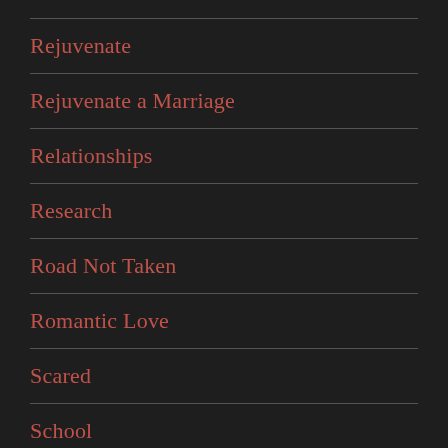Rejuvenate
Rejuvenate a Marriage
Relationships
Research
Road Not Taken
Romantic Love
Scared
School